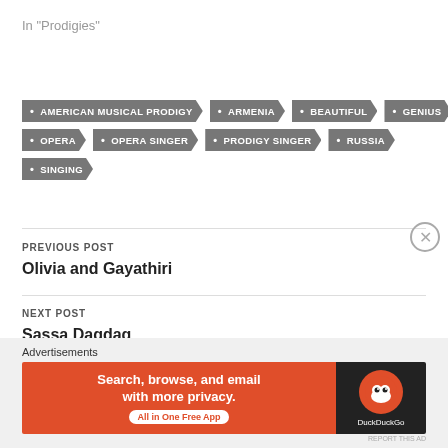In "Prodigies"
• AMERICAN MUSICAL PRODIGY
• ARMENIA
• BEAUTIFUL
• GENIUS
• OPERA
• OPERA SINGER
• PRODIGY SINGER
• RUSSIA
• SINGING
PREVIOUS POST
Olivia and Gayathiri
NEXT POST
Sassa Dagdag
Advertisements
[Figure (screenshot): DuckDuckGo advertisement banner: 'Search, browse, and email with more privacy. All in One Free App' with DuckDuckGo logo on dark background]